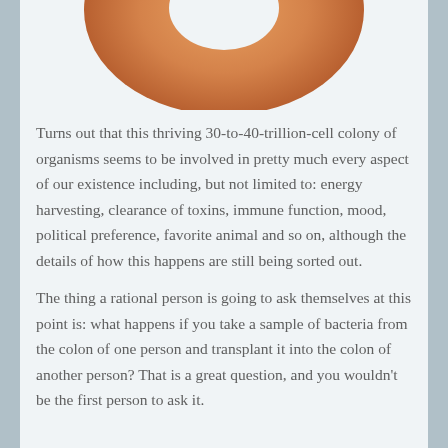[Figure (photo): Bottom portion of a round brown object (possibly a donut or organ) shown against a white/light background, cropped at the top of the page.]
Turns out that this thriving 30-to-40-trillion-cell colony of organisms seems to be involved in pretty much every aspect of our existence including, but not limited to: energy harvesting, clearance of toxins, immune function, mood, political preference, favorite animal and so on, although the details of how this happens are still being sorted out.
The thing a rational person is going to ask themselves at this point is: what happens if you take a sample of bacteria from the colon of one person and transplant it into the colon of another person?  That is a great question, and you wouldn't be the first person to ask it.